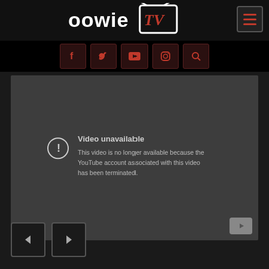[Figure (logo): OowieTV logo — stylized 'oowie' text with a TV screen icon containing red cursive 'TV' lettering, on black background]
[Figure (screenshot): Navigation bar with social media icon buttons (Facebook, Twitter, YouTube, Instagram, Search) in dark red bordered boxes on black background]
[Figure (screenshot): YouTube embedded video player showing error state: 'Video unavailable — This video is no longer available because the YouTube account associated with this video has been terminated.' Gray background with exclamation circle icon and YouTube logo button]
[Figure (screenshot): Navigation previous/next arrow buttons (< and >) in gray bordered boxes at bottom left]